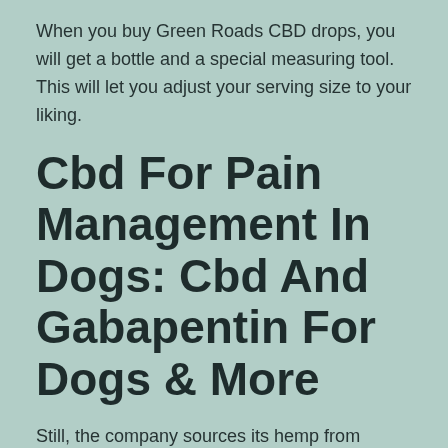When you buy Green Roads CBD drops, you will get a bottle and a special measuring tool. This will let you adjust your serving size to your liking.
Cbd For Pain Management In Dogs: Cbd And Gabapentin For Dogs & More
Still, the company sources its hemp from Oregon farms that use “natural growing techniques,” free of chemical pesticides. The